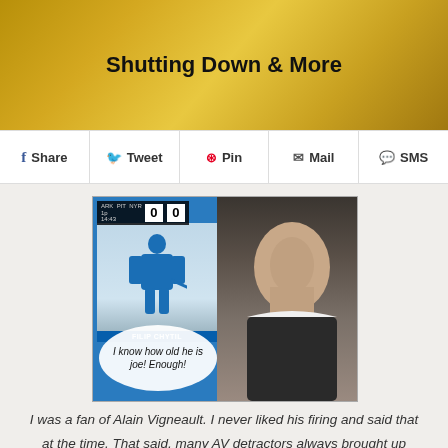Heating Up, NYR Fix, Another Rangers Bar Shutting Down & More
[Figure (screenshot): Screenshot of a hockey broadcast showing a player on ice (FILIP CHYTIL) in a thumbnail, a scoreboard showing 0-0, a coach in the main frame, and a speech bubble reading 'I know how old he is joe! Enough!']
I was a fan of Alain Vigneault. I never liked his firing and said that at the time. That said, many AV detractors always brought up how AV always looked emotionless behind the bench. In tonight's game, I